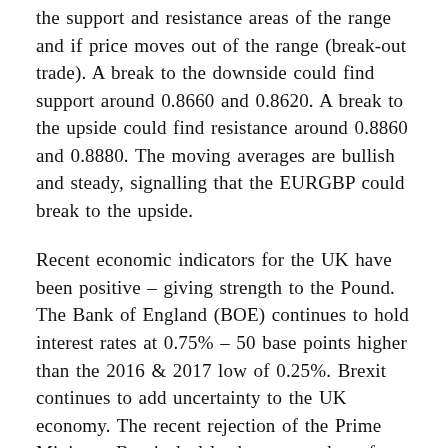the support and resistance areas of the range and if price moves out of the range (break-out trade). A break to the downside could find support around 0.8660 and 0.8620. A break to the upside could find resistance around 0.8860 and 0.8880. The moving averages are bullish and steady, signalling that the EURGBP could break to the upside.
Recent economic indicators for the UK have been positive – giving strength to the Pound. The Bank of England (BOE) continues to hold interest rates at 0.75% – 50 base points higher than the 2016 & 2017 low of 0.25%. Brexit continues to add uncertainty to the UK economy. The recent rejection of the Prime Ministers Brexit deal leads to a number of different Brexit options, including cancelling Brexit or leaving the EU without a deal. The European Central Bank